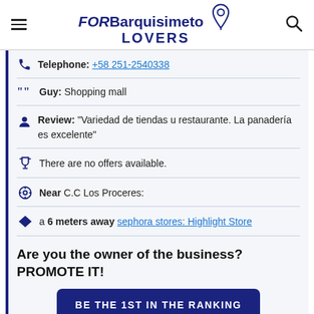FORBarquisimeto LOVERS
Telephone: +58 251-2540338
Guy: Shopping mall
Review: "Variedad de tiendas u restaurante. La panadería es excelente"
There are no offers available.
Near C.C Los Proceres:
a 6 meters away sephora stores: Highlight Store
Are you the owner of the business? PROMOTE IT!
BE THE 1ST IN THE RANKING